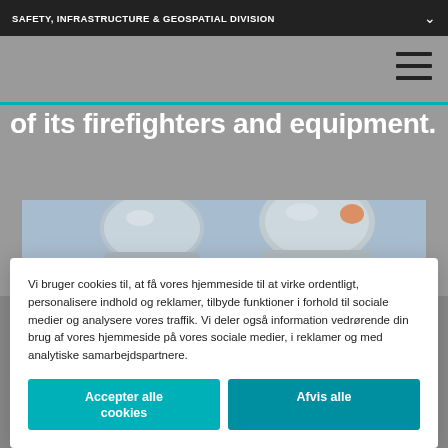SAFETY, INFRASTRUCTURE & GEOSPATIAL DIVISION
of its firefighters and equipment.
[Figure (photo): Two firefighters wearing silver helmets photographed from behind/side against a blue-gray sky.]
Vi bruger cookies til, at få vores hjemmeside til at virke ordentligt, personalisere indhold og reklamer, tilbyde funktioner i forhold til sociale medier og analysere vores traffik. Vi deler også information vedrørende din brug af vores hjemmeside på vores sociale medier, i reklamer og med analytiske samarbejdspartnere.
Accepter alle cookies
Afvis alle